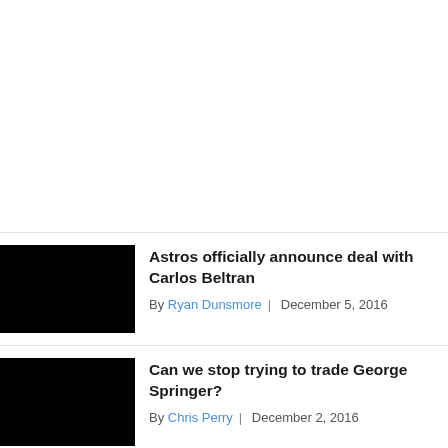Astros officially announce deal with Carlos Beltran
By Ryan Dunsmore | December 5, 2016
Can we stop trying to trade George Springer?
By Chris Perry | December 2, 2016